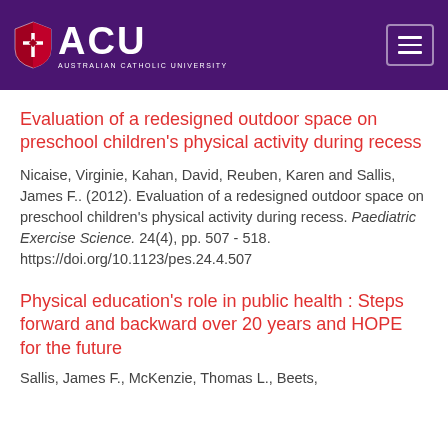[Figure (logo): Australian Catholic University (ACU) logo with shield icon and text on purple header background, with hamburger menu button on right]
Evaluation of a redesigned outdoor space on preschool children's physical activity during recess
Nicaise, Virginie, Kahan, David, Reuben, Karen and Sallis, James F.. (2012). Evaluation of a redesigned outdoor space on preschool children's physical activity during recess. Paediatric Exercise Science. 24(4), pp. 507 - 518. https://doi.org/10.1123/pes.24.4.507
Physical education's role in public health : Steps forward and backward over 20 years and HOPE for the future
Sallis, James F., McKenzie, Thomas L., Beets,